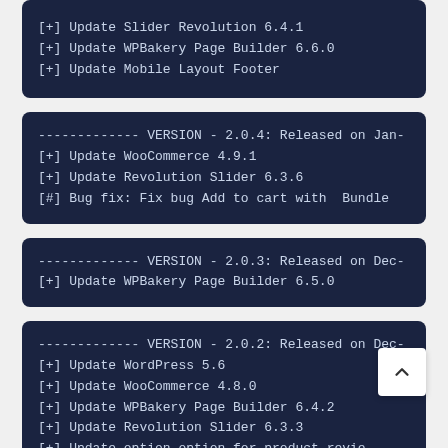[+] Update Slider Revolution 6.4.1
[+] Update WPBakery Page Builder 6.6.0
[+] Update Mobile Layout Footer
------------- VERSION - 2.0.4: Released on Jan-
[+] Update WooCommerce 4.9.1
[+] Update Revolution Slider 6.3.6
[#] Bug fix: Fix bug Add to cart with  Bundle
------------- VERSION - 2.0.3: Released on Dec-
[+] Update WPBakery Page Builder 6.5.0
------------- VERSION - 2.0.2: Released on Dec-
[+] Update WordPress 5.6
[+] Update WooCommerce 4.8.0
[+] Update WPBakery Page Builder 6.4.2
[+] Update Revolution Slider 6.3.3
[+] Update option option for product revie
[#] Bug fix: Fix bug deprecated